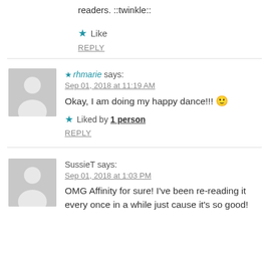readers. ::twinkle::
Like
REPLY
★ rhmarie says:
Sep 01, 2018 at 11:19 AM
Okay, I am doing my happy dance!!! 🙂
Liked by 1 person
REPLY
SussieT says:
Sep 01, 2018 at 1:03 PM
OMG Affinity for sure! I've been re-reading it every once in a while just cause it's so good!